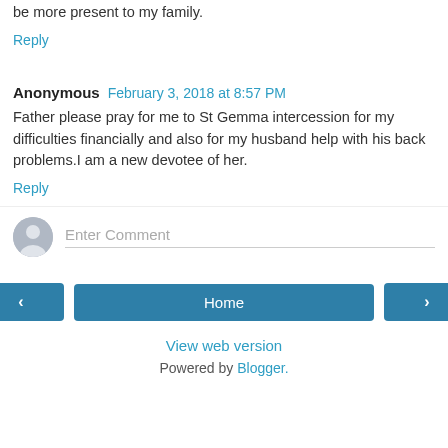be more present to my family.
Reply
Anonymous  February 3, 2018 at 8:57 PM
Father please pray for me to St Gemma intercession for my difficulties financially and also for my husband help with his back problems.I am a new devotee of her.
Reply
[Figure (other): User avatar placeholder icon (grey circle with silhouette)]
Enter Comment
< Home >
View web version
Powered by Blogger.